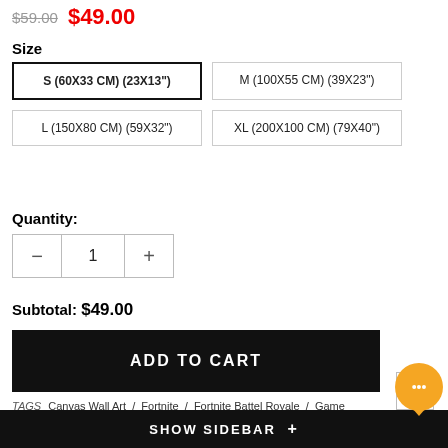$59.00  $49.00
Size
S (60X33 CM) (23X13")
M (100X55 CM) (39X23")
L (150X80 CM) (59X32")
XL (200X100 CM) (79X40")
Quantity:
Subtotal: $49.00
ADD TO CART
TAGS Canvas Wall Art / Fortnite / Fortnite Battel Royale / Game Art / Gaming Canvas / Gaming Decoration / PC / PS4 / Salty / woo_import_1 / X-Box
SHOW SIDEBAR +